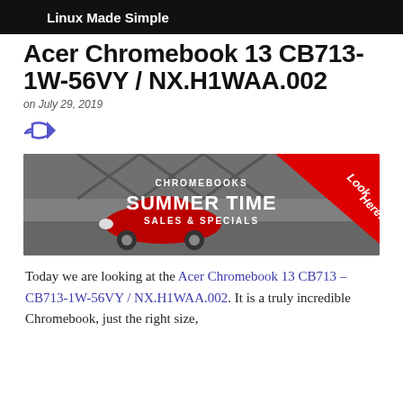Linux Made Simple
Acer Chromebook 13 CB713-1W-56VY / NX.H1WAA.002
on July 29, 2019
[Figure (illustration): Share icon (arrow pointing outward)]
[Figure (photo): Chromebooks Summer Time Sales & Specials banner ad with red VW Beetle car on grayscale background and red 'Look Here!' corner tag]
Today we are looking at the Acer Chromebook 13 CB713 - CB713-1W-56VY / NX.H1WAA.002. It is a truly incredible Chromebook, just the right size,